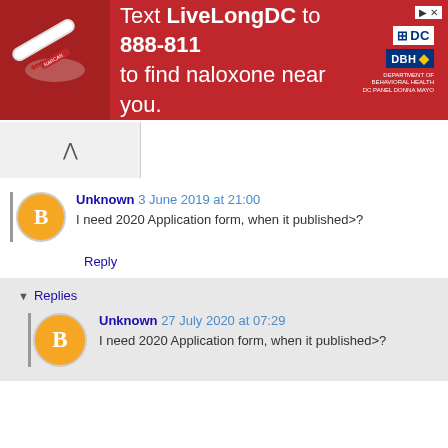[Figure (infographic): Red advertisement banner: 'Text LiveLongDC to 888-811 to find naloxone near you.' with DC and DBH logos on the right and a medicine image on the left.]
Unknown 3 June 2019 at 21:00 — I need 2020 Application form, when it published>?
Reply
Replies
Unknown 27 July 2020 at 07:29 — I need 2020 Application form, when it published>?